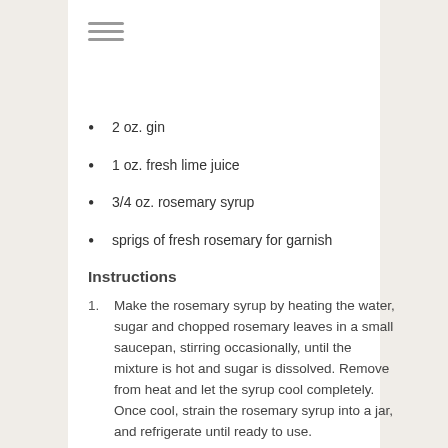2 oz. gin
1 oz. fresh lime juice
3/4 oz. rosemary syrup
sprigs of fresh rosemary for garnish
Instructions
Make the rosemary syrup by heating the water, sugar and chopped rosemary leaves in a small saucepan, stirring occasionally, until the mixture is hot and sugar is dissolved. Remove from heat and let the syrup cool completely. Once cool, strain the rosemary syrup into a jar, and refrigerate until ready to use.
Chill a stemmed cocktail glass in the freezer.
Measure the gin, lime juice and rosemary syrup into a cocktail shaker. Fill the shaker halfway with ice, cover, and shake the gimlet mixture about twenty seconds, until very cold. Pour into a chilled cocktail glass. Garnish with a sprig of rosemary or a slice of fresh lime.